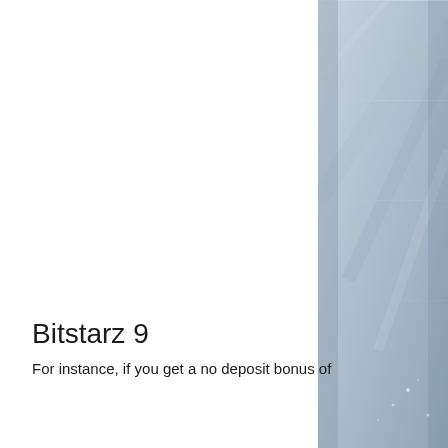[Figure (photo): Background architectural photo on the right side of the page showing a bluish-gray interior structure, possibly a hallway or modern building interior with diagonal lines.]
Bitstarz 9
For instance, if you get a no deposit bonus of